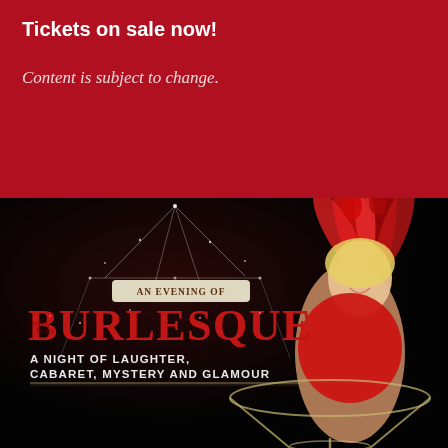Tickets on sale now!
Content is subject to change.
[Figure (illustration): Promotional poster for 'An Evening of Burlesque' showing a glamorous blonde woman in a red costume seated in a large martini glass, wearing a red feathered headdress, against a dark background with a circus tent silhouette. Text reads: AN EVENING OF BURLESQUE - A NIGHT OF LAUGHTER, CABARET, MYSTERY AND GLAMOUR]